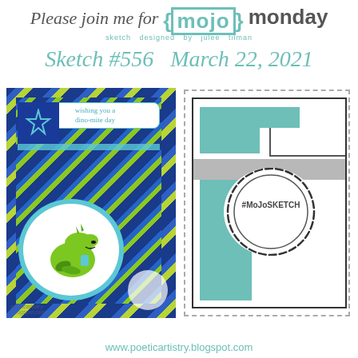Please join me for {MOJO} monday — sketch designed by julee tilman
Sketch #556 March 22, 2021
[Figure (photo): Photo of a handmade greeting card featuring a cartoon dinosaur holding a cup, with blue and green diagonal stripe pattern background and sentiment 'wishing you a dino-mite day']
[Figure (illustration): Card sketch/layout diagram showing a card template with teal color blocks, gray band, scalloped circle element labeled #MOJOSKETCH, and dashed border outline]
www.poeticartistry.blogspot.com